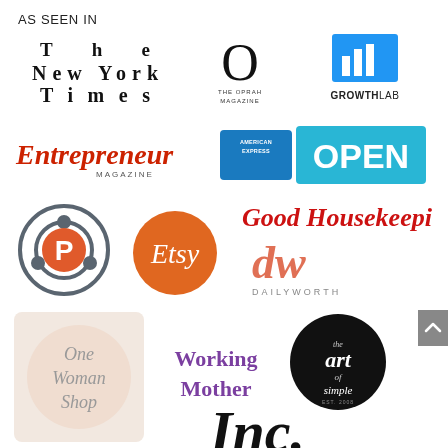AS SEEN IN
[Figure (logo): The New York Times logo in blackletter/gothic font]
[Figure (logo): The Oprah Magazine logo - large O with text THE OPRAH MAGAZINE below]
[Figure (logo): GrowthLab logo - blue square with bar chart icon and GROWTHLAB text]
[Figure (logo): Entrepreneur Magazine logo in red text with MAGAZINE below]
[Figure (logo): American Express OPEN logo - blue card with AMERICAN EXPRESS and OPEN text]
[Figure (logo): Praxis logo - circular P icon with orbiting dots in gray/orange]
[Figure (logo): Etsy logo - orange circle with Etsy text in white script]
[Figure (logo): Good Housekeeping logo in red bold text]
[Figure (logo): DailyWorth logo - stylized dw in coral/orange with DAILYWORTH below in gray]
[Figure (logo): One Woman Shop logo - script text in circle with light peach background]
[Figure (logo): Working Mother logo in purple text]
[Figure (logo): The Art of Simple logo - black circle with hand-lettered text]
[Figure (logo): Inc. magazine logo in large bold black italic text]